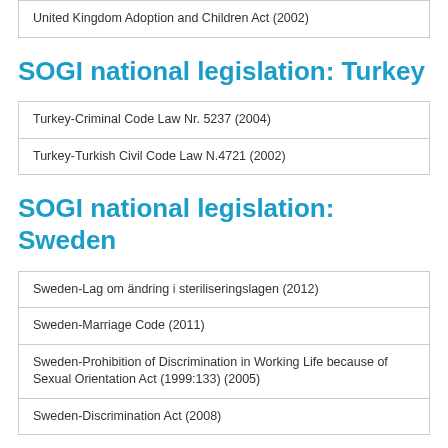| United Kingdom Adoption and Children Act (2002) |
SOGI national legislation: Turkey
| Turkey-Criminal Code Law Nr. 5237 (2004) |
| Turkey-Turkish Civil Code Law N.4721 (2002) |
SOGI national legislation: Sweden
| Sweden-Lag om ändring i steriliseringslagen (2012) |
| Sweden-Marriage Code (2011) |
| Sweden-Prohibition of Discrimination in Working Life because of Sexual Orientation Act (1999:133) (2005) |
| Sweden-Discrimination Act (2008) |